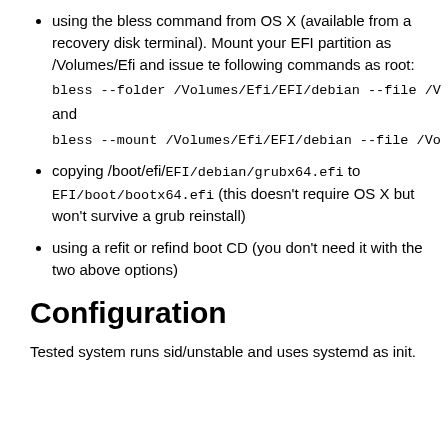using the bless command from OS X (available from a recovery disk terminal). Mount your EFI partition as /Volumes/Efi and issue te following commands as root: bless --folder /Volumes/Efi/EFI/debian --file /V and bless --mount /Volumes/Efi/EFI/debian --file /Vo
copying /boot/efi/EFI/debian/grubx64.efi to EFI/boot/bootx64.efi (this doesn't require OS X but won't survive a grub reinstall)
using a refit or refind boot CD (you don't need it with the two above options)
Configuration
Tested system runs sid/unstable and uses systemd as init.